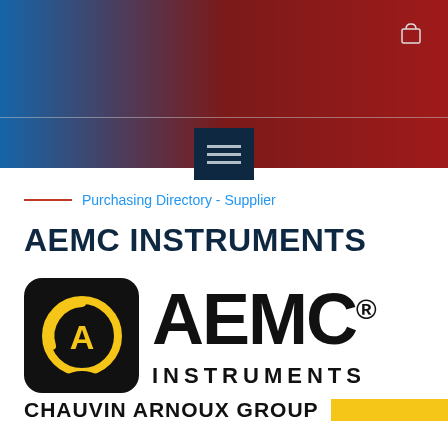[Figure (screenshot): Website header banner with gradient background from blue (left) to dark red (right), a shopping cart icon at top right, a horizontal divider line, and a dark navy hamburger menu button in the center-bottom of the banner.]
Purchasing Directory - Supplier
AEMC INSTRUMENTS
[Figure (logo): AEMC Instruments logo: a black rounded square containing a yellow circular arrow/compass emblem on the left, large bold black text 'AEMC' with registered trademark symbol, 'INSTRUMENTS' in spaced capitals below, and 'CHAUVIN ARNOUX GROUP' with a yellow bar to the right at the bottom.]